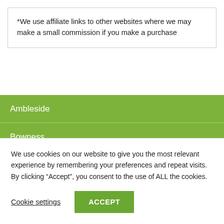*We use affiliate links to other websites where we may make a small commission if you make a purchase
Ambleside
Bowness
Kendal
We use cookies on our website to give you the most relevant experience by remembering your preferences and repeat visits. By clicking “Accept”, you consent to the use of ALL the cookies.
Cookie settings
ACCEPT